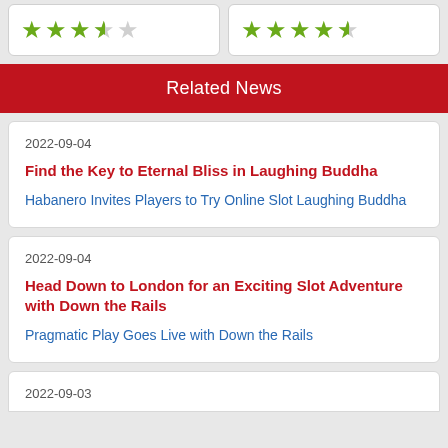[Figure (other): Star rating display showing 3.5 out of 5 green stars (left card)]
[Figure (other): Star rating display showing 4.5 out of 5 green stars (right card)]
Related News
2022-09-04
Find the Key to Eternal Bliss in Laughing Buddha
Habanero Invites Players to Try Online Slot Laughing Buddha
2022-09-04
Head Down to London for an Exciting Slot Adventure with Down the Rails
Pragmatic Play Goes Live with Down the Rails
2022-09-03